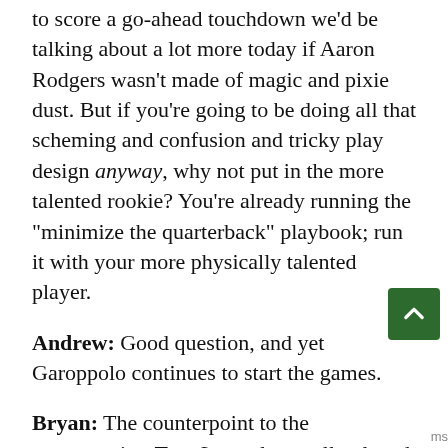...that pressure off, Garoppolo responds, managing to score a go-ahead touchdown we'd be talking about a lot more today if Aaron Rodgers wasn't made of magic and pixie dust. But if you're going to be doing all that scheming and confusion and tricky play design anyway, why not put in the more talented rookie? You're already running the "minimize the quarterback" playbook; run it with your more physically talented player.
Andrew: Good question, and yet Garoppolo continues to start the games.
Bryan: The counterpoint to the counterpoint: Trey Lance last really played in 2019, in the FCS. He sat out all but one showcase game last season. He is both rusty and raw, an awkward combination. And if Kyle Shanahan doesn't think Lance is ready to run his offense, well, I tend to trust that; he sees more than we do in practice and whatnot. But man,